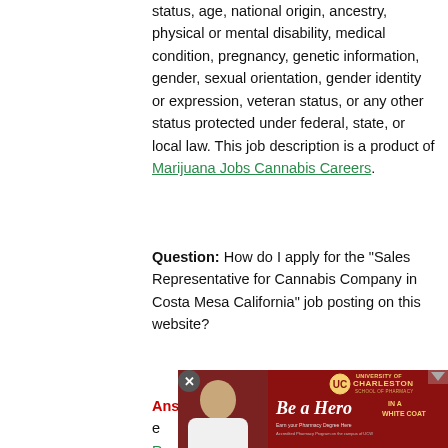status, age, national origin, ancestry, physical or mental disability, medical condition, pregnancy, genetic information, gender, sexual orientation, gender identity or expression, veteran status, or any other status protected under federal, state, or local law. This job description is a product of Marijuana Jobs Cannabis Careers.
Question: How do I apply for the "Sales Representative for Cannabis Company in Costa Mesa California" job posting on this website?
Answer: You can apply for this job listing by e... R... al... green-colored "Send Application" button
[Figure (photo): University of Charleston School of Pharmacy advertisement banner with person in white coat and text 'Be a Hero In A White Coat']